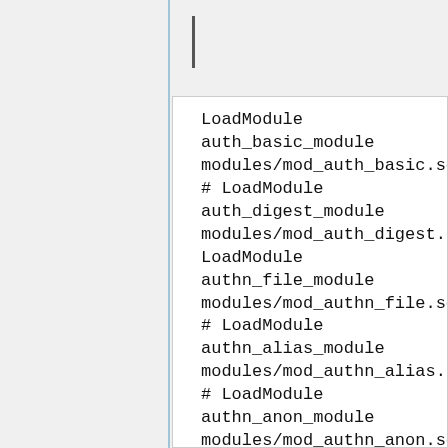LoadModule
auth_basic_module
modules/mod_auth_basic.so
# LoadModule
auth_digest_module
modules/mod_auth_digest.s
LoadModule
authn_file_module
modules/mod_authn_file.so
# LoadModule
authn_alias_module
modules/mod_authn_alias.s
# LoadModule
authn_anon_module
modules/mod_authn_anon.so
# LoadModule
authn_dbm_module
modules/mod_authn_d